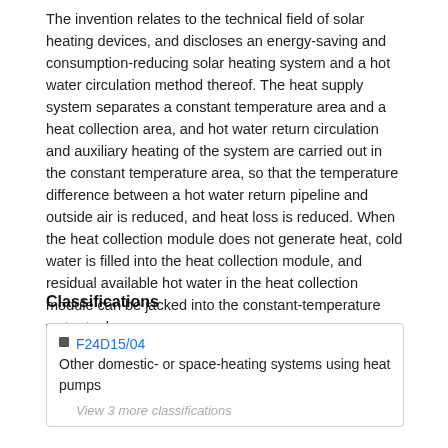The invention relates to the technical field of solar heating devices, and discloses an energy-saving and consumption-reducing solar heating system and a hot water circulation method thereof. The heat supply system separates a constant temperature area and a heat collection area, and hot water return circulation and auxiliary heating of the system are carried out in the constant temperature area, so that the temperature difference between a hot water return pipeline and outside air is reduced, and heat loss is reduced. When the heat collection module does not generate heat, cold water is filled into the heat collection module, and residual available hot water in the heat collection module can be jacked into the constant-temperature water tank.
Classifications
F24D15/04  Other domestic- or space-heating systems using heat pumps
View 3 more classifications